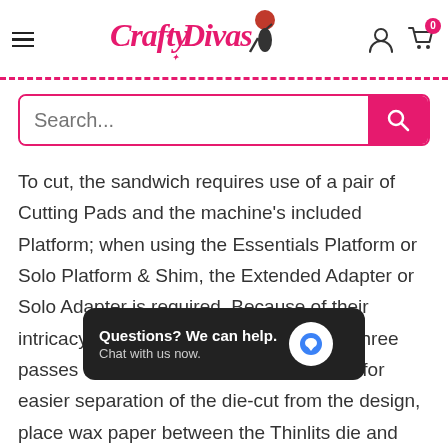Crafty Divas - navigation header with hamburger menu, logo, user and cart icons
Search...
To cut, the sandwich requires use of a pair of Cutting Pads and the machine's included Platform; when using the Essentials Platform or Solo Platform & Shim, the Extended Adapter or Solo Adapter is required. Because of their intricacy, Thinlits dies may require up to three passes to cut. If extra ejection is needed for easier separation of the die-cut from the design, place wax paper between the Thinlits die and your material and then cut.
These dies can a...hine's included Platform is combined with an Impressions Pad and
[Figure (screenshot): Chat popup overlay reading 'Questions? We can help. Chat with us now.' with a blue chat bubble icon on dark background]